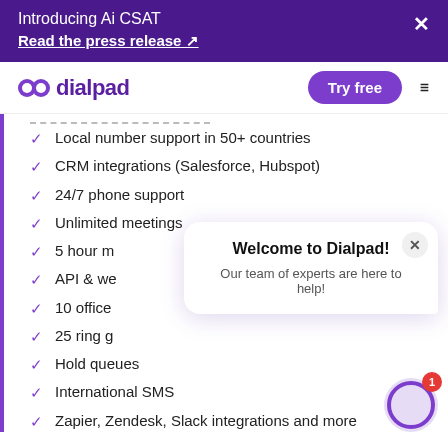Introducing Ai CSAT
Read the press release ↗
[Figure (logo): Dialpad logo with purple icon and text, Try free button, hamburger menu]
Local number support in 50+ countries
CRM integrations (Salesforce, Hubspot)
24/7 phone support
Unlimited meetings
5 hour m
API & we
10 office
25 ring g
Hold queues
International SMS
Zapier, Zendesk, Slack integrations and more
Welcome to Dialpad!
Our team of experts are here to help!